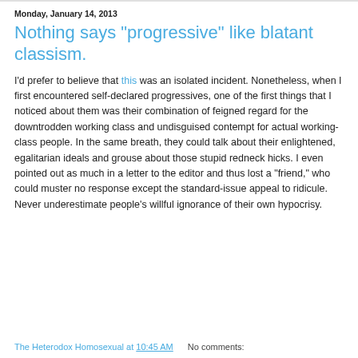Monday, January 14, 2013
Nothing says "progressive" like blatant classism.
I'd prefer to believe that this was an isolated incident. Nonetheless, when I first encountered self-declared progressives, one of the first things that I noticed about them was their combination of feigned regard for the downtrodden working class and undisguised contempt for actual working-class people. In the same breath, they could talk about their enlightened, egalitarian ideals and grouse about those stupid redneck hicks. I even pointed out as much in a letter to the editor and thus lost a "friend," who could muster no response except the standard-issue appeal to ridicule. Never underestimate people's willful ignorance of their own hypocrisy.
The Heterodox Homosexual at 10:45 AM   No comments: